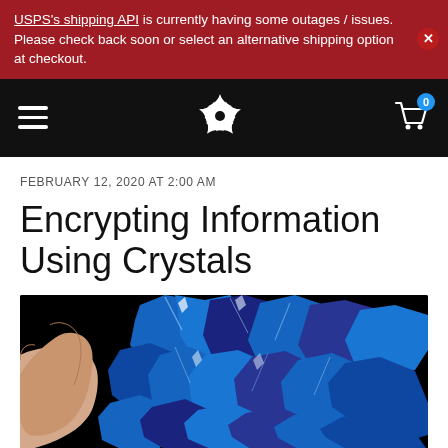USPS's shipping API is currently having some outages / issues. Please check back soon or select an alternative shipping option at checkout.
[Figure (screenshot): Navigation bar with hamburger menu on left, star flower logo in center, shopping cart icon with badge showing 0 on right, all on black background]
FEBRUARY 12, 2020 AT 2:00 AM
Encrypting Information Using Crystals
[Figure (photo): A hand holding a cluster of blue crystals against a black background]